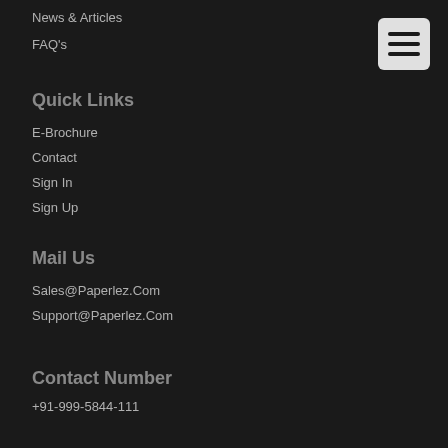News & Articles
FAQ's
Quick Links
E-Brochure
Contact
Sign In
Sign Up
Mail Us
Sales@Paperlez.Com
Support@Paperlez.Com
Contact Number
+91-999-5844-111